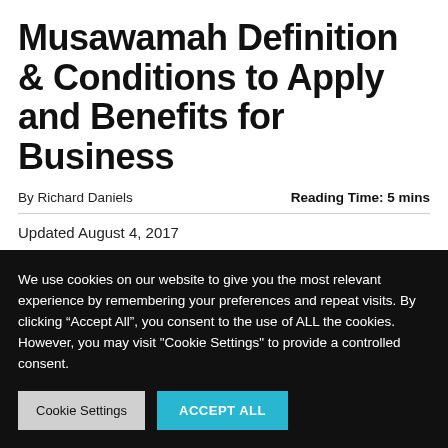Musawamah Definition & Conditions to Apply and Benefits for Business
By Richard Daniels
Reading Time: 5 mins
Updated August 4, 2017
We use cookies on our website to give you the most relevant experience by remembering your preferences and repeat visits. By clicking “Accept All”, you consent to the use of ALL the cookies. However, you may visit "Cookie Settings" to provide a controlled consent.
Cookie Settings
ACCEPT ALL